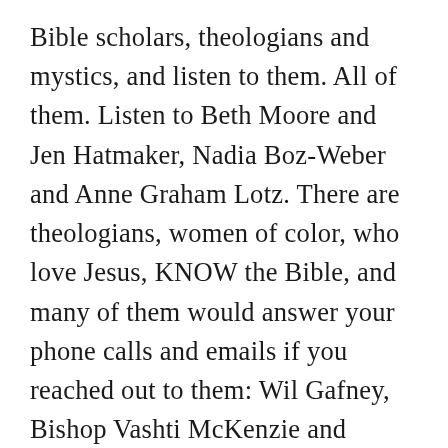Bible scholars, theologians and mystics, and listen to them. All of them. Listen to Beth Moore and Jen Hatmaker, Nadia Boz-Weber and Anne Graham Lotz. There are theologians, women of color, who love Jesus, KNOW the Bible, and many of them would answer your phone calls and emails if you reached out to them: Wil Gafney, Bishop Vashti McKenzie and Ekemini Uwan. Your third grade Sunday School teacher would be a good source, as would the single young female who hides in the shadows of your church. Read their work. Call them or message them and ask their thoughts. Listen to them.